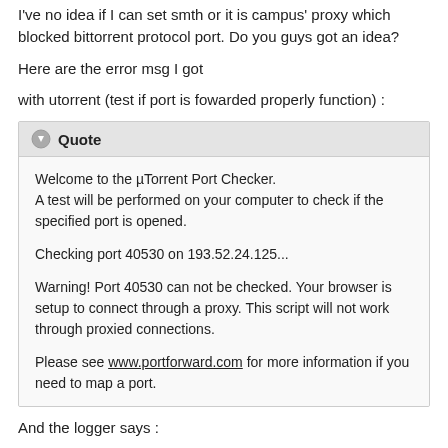I've no idea if I can set smth or it is campus' proxy which blocked bittorrent protocol port. Do you guys got an idea?
Here are the error msg I got
with utorrent (test if port is fowarded properly function) :
Quote
Welcome to the µTorrent Port Checker.
A test will be performed on your computer to check if the specified port is opened.

Checking port 40530 on 193.52.24.125...

Warning! Port 40530 can not be checked. Your browser is setup to connect through a proxy. This script will not work through proxied connections.

Please see www.portforward.com for more information if you need to map a port.
And the logger says :